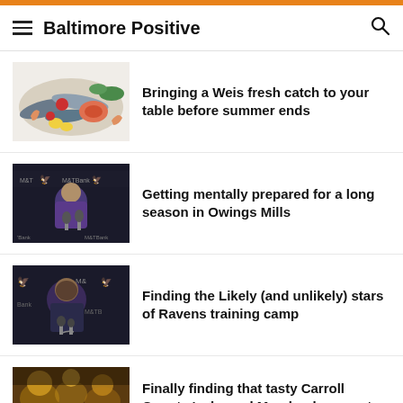Baltimore Positive
Bringing a Weis fresh catch to your table before summer ends
Getting mentally prepared for a long season in Owings Mills
Finding the Likely (and unlikely) stars of Ravens training camp
Finally finding that tasty Carroll County 'cake and Maryland menu at Rocksalt in